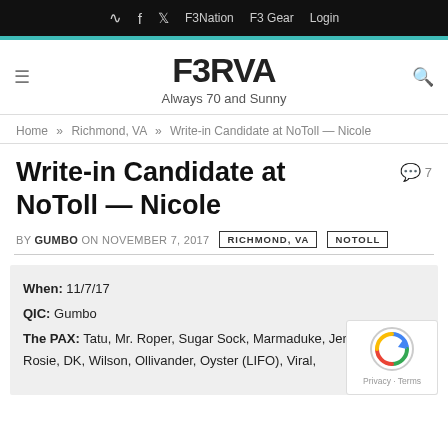RSS  f  Twitter  F3Nation  F3 Gear  Login
F3RVA
Always 70 and Sunny
Home » Richmond, VA » Write-in Candidate at NoToll — Nicole
Write-in Candidate at NoToll — Nicole
BY GUMBO ON NOVEMBER 7, 2017  RICHMOND, VA  NOTOLL
When: 11/7/17
QIC: Gumbo
The PAX: Tatu, Mr. Roper, Sugar Sock, Marmaduke, Jen Craig, Rosie, DK, Wilson, Ollivander, Oyster (LIFO), Viral,